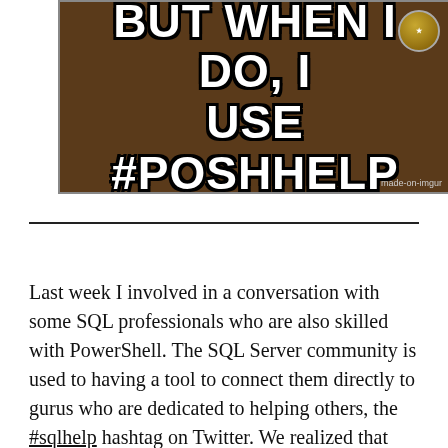[Figure (illustration): Meme image with dark brown background showing text 'BUT WHEN I DO, I USE #POSHHELP' in large white Impact font with black outline. A badge/coin graphic is visible in the top right. Watermark reads 'made-on-imgur' in bottom right.]
Last week I involved in a conversation with some SQL professionals who are also skilled with PowerShell. The SQL Server community is used to having a tool to connect them directly to gurus who are dedicated to helping others, the #sqlhelp hashtag on Twitter. We realized that the PowerShell community's Twitter hashtags are not as strong as the #sqlhelp hashtag and want to fix